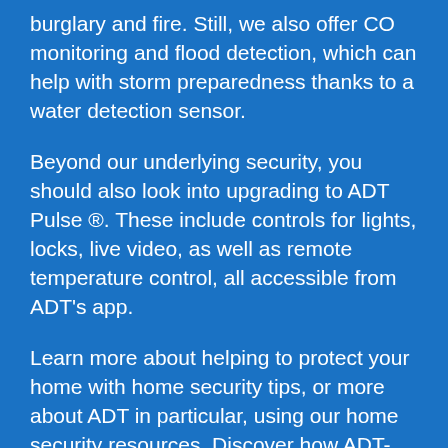burglary and fire. Still, we also offer CO monitoring and flood detection, which can help with storm preparedness thanks to a water detection sensor.
Beyond our underlying security, you should also look into upgrading to ADT Pulse ®. These include controls for lights, locks, live video, as well as remote temperature control, all accessible from ADT's app.
Learn more about helping to protect your home with home security tips, or more about ADT in particular, using our home security resources. Discover how ADT-monitored systems can help protect you from emergencies.
As a homeowner, you want a system designed for your needs. Help to protect your home smartly with an ADT-monitored home security system. All of our home security systems provide the basics: theft prevention, remote access, home video surveillance,